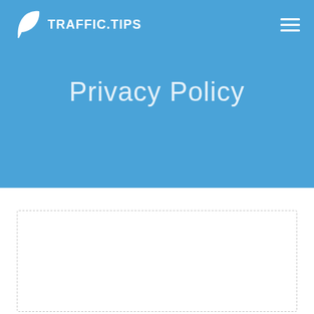TRAFFIC.TIPS
Privacy Policy
Advertisement
[Figure (logo): Circular arrow/target icon in blue, partially visible at bottom of advertisement box]